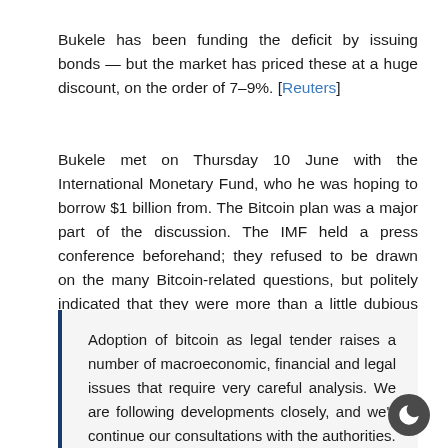Bukele has been funding the deficit by issuing bonds — but the market has priced these at a huge discount, on the order of 7–9%. [Reuters]
Bukele met on Thursday 10 June with the International Monetary Fund, who he was hoping to borrow $1 billion from. The Bitcoin plan was a major part of the discussion. The IMF held a press conference beforehand; they refused to be drawn on the many Bitcoin-related questions, but politely indicated that they were more than a little dubious about the scheme: [IMF]
Adoption of bitcoin as legal tender raises a number of macroeconomic, financial and legal issues that require very careful analysis. We are following developments closely, and we'll continue our consultations with the authorities.